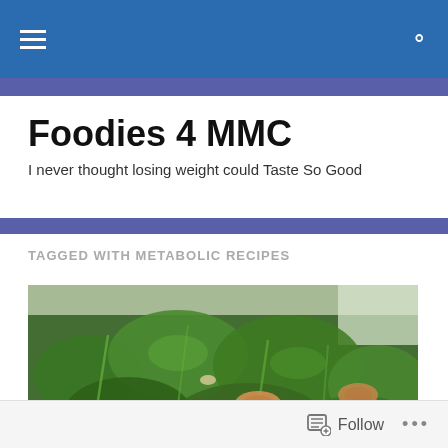Foodies 4 MMC — navigation bar with hamburger menu and search icon
Foodies 4 MMC
I never thought losing weight could Taste So Good
TAGGED WITH METABOLIC RECIPES
[Figure (photo): Close-up photo of cooked green vegetables (broccoli rabe or similar leafy greens) with pieces of meat/bacon on top, served on a white plate.]
Follow  •••